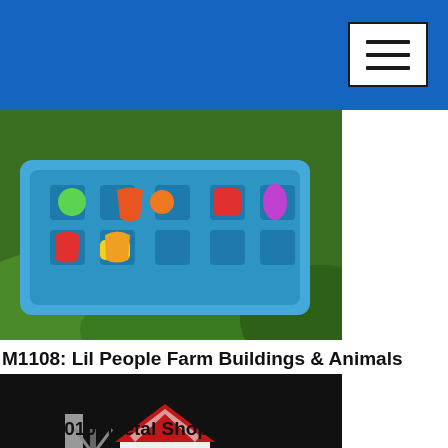[Figure (photo): Blue header bar with hamburger menu icon in top right corner]
[Figure (photo): Colorful plastic toy activity table with various shapes and pieces, photographed outdoors on green grass]
M1108: Lil People Farm Buildings & Animals
[Figure (photo): Fisher-Price Little People farm set with red barn buildings, animal figures, people figures, trees and accessories arranged on a white surface]
GM082010: Metal Shopping Trolley